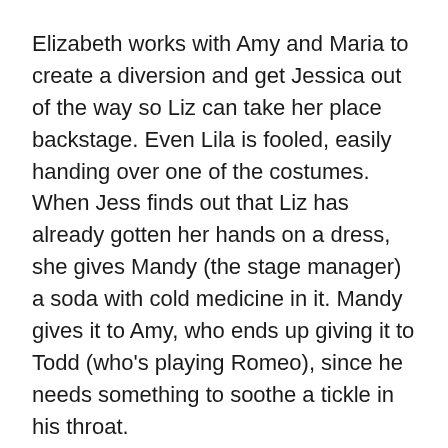Elizabeth works with Amy and Maria to create a diversion and get Jessica out of the way so Liz can take her place backstage. Even Lila is fooled, easily handing over one of the costumes. When Jess finds out that Liz has already gotten her hands on a dress, she gives Mandy (the stage manager) a soda with cold medicine in it. Mandy gives it to Amy, who ends up giving it to Todd (who's playing Romeo), since he needs something to soothe a tickle in his throat.
Jessica manages to be the first Juliet to make it onstage, but Elizabeth lies in wait by the balcony to beat her up there for the next scene. The two start trying to physically pull each other off the set. The audience doesn't seem to catch on that something weird is going on, and they definitely don't notice that Juliet is being played by two